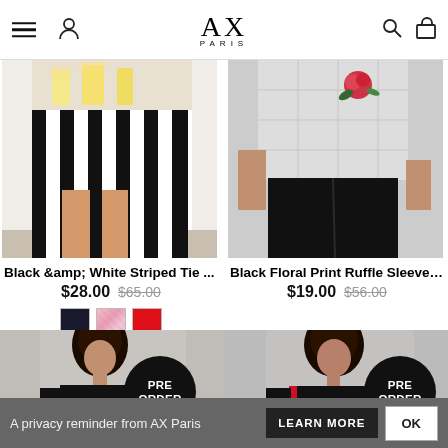AX PARIS navigation header with menu, user, search, and bag icons
[Figure (photo): Black and white vertically striped mini dress/skirt on a model, bottom half visible, candles in background]
[Figure (photo): Black floral print top with ruffle sleeves over black leggings, model torso visible]
Black &amp; White Striped Tie ...
Black Floral Print Ruffle Sleeve ...
$28.00  $65.00
$19.00  $56.00
[Figure (photo): Model in black outfit with PRE ORDER badge overlay]
[Figure (photo): Model in black tracksuit with red side stripe, PRE ORDER badge overlay]
A privacy reminder from AX Paris  LEARN MORE  OK